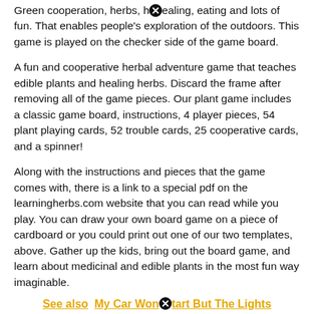Green cooperation, herbs, healing, eating and lots of fun. That enables people's exploration of the outdoors. This game is played on the checker side of the game board.
A fun and cooperative herbal adventure game that teaches edible plants and healing herbs. Discard the frame after removing all of the game pieces. Our plant game includes a classic game board, instructions, 4 player pieces, 54 plant playing cards, 52 trouble cards, 25 cooperative cards, and a spinner!
Along with the instructions and pieces that the game comes with, there is a link to a special pdf on the learningherbs.com website that you can read while you play. You can draw your own board game on a piece of cardboard or you could print out one of our two templates, above. Gather up the kids, bring out the board game, and learn about medicinal and edible plants in the most fun way imaginable.
See also  My Car Won't Start But The Lights